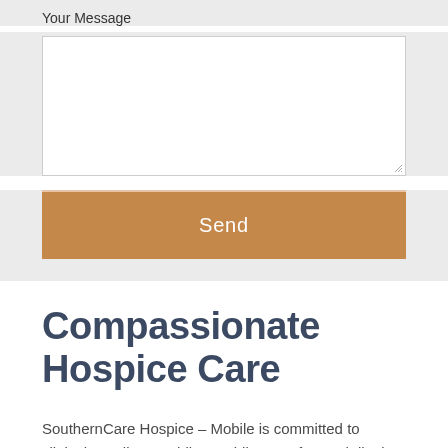Your Message
[Figure (other): Text area input box for message entry with resize handle]
Send
Compassionate Hospice Care
SouthernCare Hospice – Mobile is committed to clinical excellence while providing comfort and dignity to both the patient and family who are facing a life-limiting illness.
We are here 24/7/365